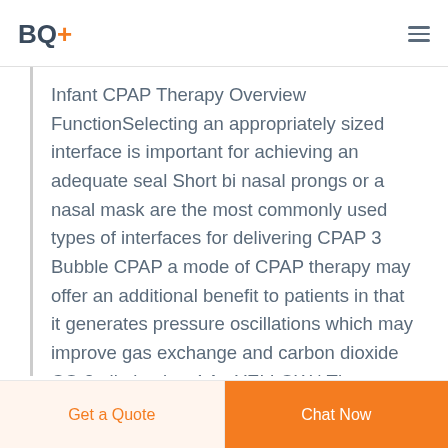BQ+
Infant CPAP Therapy Overview FunctionSelecting an appropriately sized interface is important for achieving an adequate seal Short bi nasal prongs or a nasal mask are the most commonly used types of interfaces for delivering CPAP 3 Bubble CPAP a mode of CPAP therapy may offer an additional benefit to patients in that it generates pressure oscillations which may improve gas exchange and carbon dioxide CO 2 elimination 4 An YELLOW | The most innovative clothing brand in BangladeshAs a retailer of our parent brand BEXIMCO we started our journey all the way back in 2004 From the very beginning we
Get a Quote  Chat Now